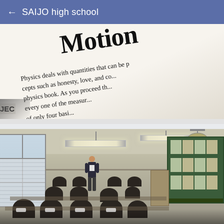← SAIJO high school
[Figure (photo): Close-up photograph of a physics textbook page showing the word 'Motion' in large bold serif font, with body text reading: 'Physics deals with quantities that can be p... cepts such as honesty, love, and co... physics book. As you proceed th... every one of the measur... of only four basi... chapter, we k...' and partial label 'JEC' visible at bottom left]
[Figure (photo): Photograph of a Japanese high school classroom with students seated at desks, a teacher standing near the center, fluorescent lights on the ceiling, windows on the left wall, and a green chalkboard with papers posted on the right side]